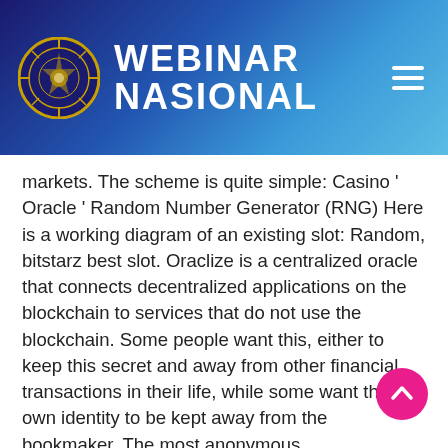WEBINAR NASIONAL
markets. The scheme is quite simple: Casino ' Oracle ' Random Number Generator (RNG) Here is a working diagram of an existing slot: Random, bitstarz best slot. Oraclize is a centralized oracle that connects decentralized applications on the blockchain to services that do not use the blockchain. Some people want this, either to keep this secret and away from other financial transactions in their life, while some want their own identity to be kept away from the bookmaker. The most anonymous cryptocurrency is Monero, bitstarz locked by bonus. FortuneJack have recently launched Jack's Club, an exclusive club for VIP customers, who can get access to personal VIP managers, better comp points, and better rollover